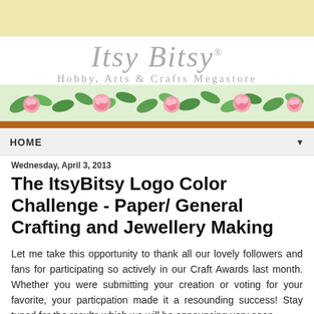[Figure (logo): Itsy Bitsy Hobby, Arts & Crafts Megastore logo with floral banner and brown bar]
HOME
Wednesday, April 3, 2013
The ItsyBitsy Logo Color Challenge - Paper/ General Crafting and Jewellery Making
Let me take this opportunity to thank all our lovely followers and fans for participating so actively in our Craft Awards last month. Whether you were submitting your creation or voting for your favorite, your particpation made it a resounding success! Stay tuned for the results which we will be announcing very soon.